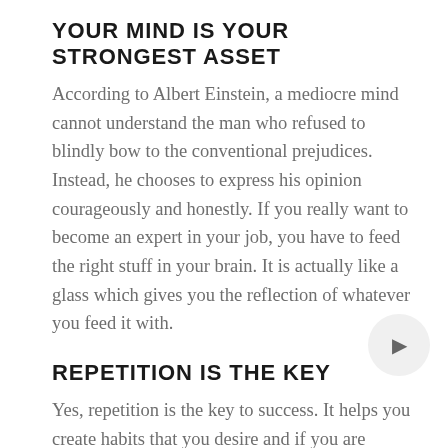YOUR MIND IS YOUR STRONGEST ASSET
According to Albert Einstein, a mediocre mind cannot understand the man who refused to blindly bow to the conventional prejudices. Instead, he chooses to express his opinion courageously and honestly. If you really want to become an expert in your job, you have to feed the right stuff in your brain. It is actually like a glass which gives you the reflection of whatever you feed it with.
REPETITION IS THE KEY
Yes, repetition is the key to success. It helps you create habits that you desire and if you are consistent in